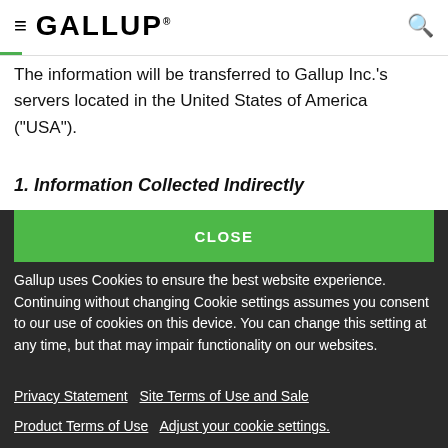≡  GALLUP
The information will be transferred to Gallup Inc.'s servers located in the United States of America ("USA").
1. Information Collected Indirectly
CLOSE
Gallup uses Cookies to ensure the best website experience. Continuing without changing Cookie settings assumes you consent to our use of cookies on this device. You can change this setting at any time, but that may impair functionality on our websites.
Privacy Statement   Site Terms of Use and Sale
Product Terms of Use   Adjust your cookie settings.